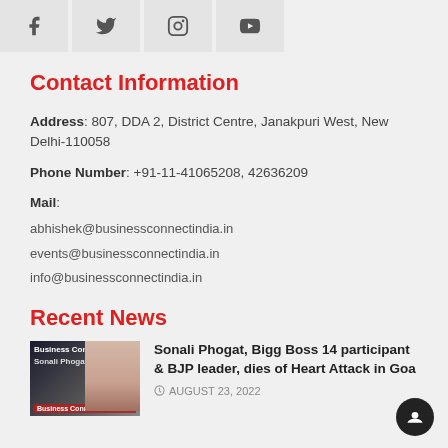[Figure (other): Social media icon buttons for Facebook, Twitter, Instagram, YouTube in a horizontal row]
Contact Information
Address: 807, DDA 2, District Centre, Janakpuri West, New Delhi-110058
Phone Number: +91-11-41065208, 42636209
Mail:
abhishek@businessconnectindia.in
events@businessconnectindia.in
info@businessconnectindia.in
Recent News
[Figure (photo): Thumbnail image of Sonali Phogat with Business Connect branding]
Sonali Phogat, Bigg Boss 14 participant & BJP leader, dies of Heart Attack in Goa
AUGUST 23, 2022